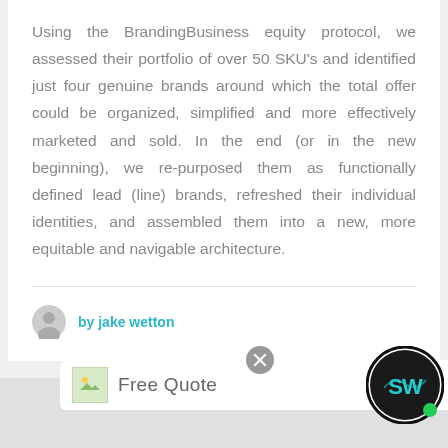Using the BrandingBusiness equity protocol, we assessed their portfolio of over 50 SKU's and identified just four genuine brands around which the total offer could be organized, simplified and more effectively marketed and sold. In the end (or in the new beginning), we re-purposed them as functionally defined lead (line) brands, refreshed their individual identities, and assembled them into a new, more equitable and navigable architecture.
by jake wetton
[Figure (logo): SW logo circular badge in black with teal/cyan background, green dot indicator]
Free Quote